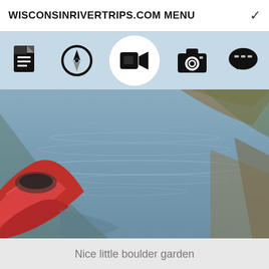WISCONSINRIVERTRIPS.COM MENU
[Figure (screenshot): Navigation icon bar with 5 icons: document/article, compass/location, video camera (active/highlighted), camera, speech bubble. Video camera icon is highlighted with white circle background.]
[Figure (photo): Kayaking photo taken from inside a red kayak looking forward across calm river water with rocky/boulder riverbed visible and green-brown riverbanks on both sides. Sky reflects off water giving blue-gray tones.]
Nice little boulder garden